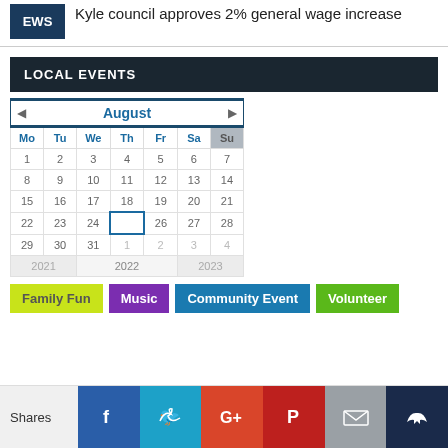Kyle council approves 2% general wage increase
LOCAL EVENTS
[Figure (other): August 2022 calendar widget with navigation arrows, day headers Mo Tu We Th Fr Sa Su, days 1-31, year navigation 2021/2022/2023, and today (25) highlighted with blue border]
Family Fun
Music
Community Event
Volunteer
Shares | Facebook | Twitter | Google+ | Pinterest | Email | Crown